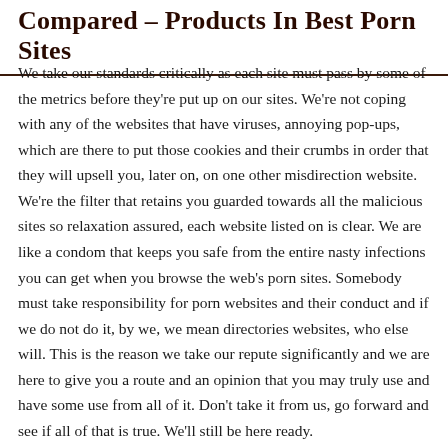Compared – Products In Best Porn Sites
We take our standards critically as each site must pass by some of the metrics before they're put up on our sites. We're not coping with any of the websites that have viruses, annoying pop-ups, which are there to put those cookies and their crumbs in order that they will upsell you, later on, on one other misdirection website. We're the filter that retains you guarded towards all the malicious sites so relaxation assured, each website listed on is clear. We are like a condom that keeps you safe from the entire nasty infections you can get when you browse the web's porn sites. Somebody must take responsibility for porn websites and their conduct and if we do not do it, by we, we mean directories websites, who else will. This is the reason we take our repute significantly and we are here to give you a route and an opinion that you may truly use and have some use from all of it. Don't take it from us, go forward and see if all of that is true. We'll still be here ready.
Kross warned that the finding that porn actresses enjoyed intercourse more than other ladies could be unreliable, on condition that a porn star's public picture relies on her fans' belief that she thinks intercourse is the